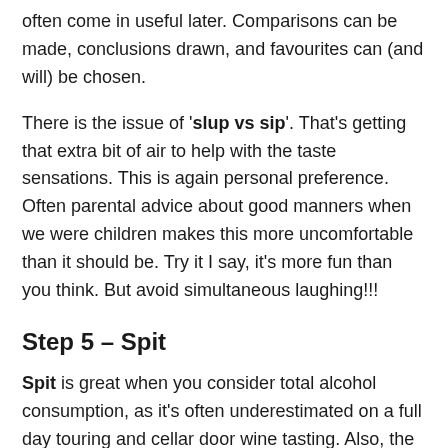often come in useful later. Comparisons can be made, conclusions drawn, and favourites can (and will) be chosen.
There is the issue of 'slup vs sip'. That's getting that extra bit of air to help with the taste sensations. This is again personal preference. Often parental advice about good manners when we were children makes this more uncomfortable than it should be. Try it I say, it's more fun than you think. But avoid simultaneous laughing!!!
Step 5 – Spit
Spit is great when you consider total alcohol consumption, as it's often underestimated on a full day touring and cellar door wine tasting. Also, the increasing alcohol level slowly deprives us of our finer sensory capacity, as the tastings start to add up.